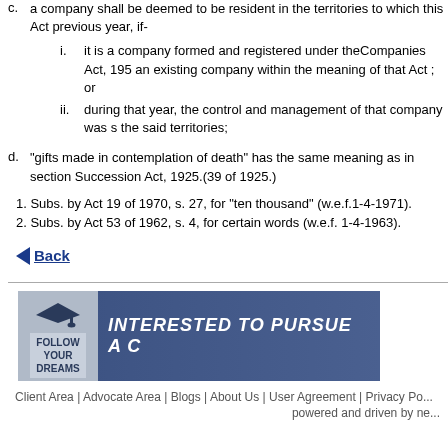c. a company shall be deemed to be resident in the territories to which this Act previous year, if- i. it is a company formed and registered under theCompanies Act, 195 an existing company within the meaning of that Act ; or ii. during that year, the control and management of that company was s the said territories;
d. "gifts made in contemplation of death" has the same meaning as in section Succession Act, 1925.(39 of 1925.)
1. Subs. by Act 19 of 1970, s. 27, for "ten thousand" (w.e.f.1-4-1971).
2. Subs. by Act 53 of 1962, s. 4, for certain words (w.e.f. 1-4-1963).
Back
[Figure (illustration): Banner with graduation cap icon, 'FOLLOW YOUR DREAMS' text, and 'INTERESTED TO PURSUE A C...' text on blue background]
Client Area | Advocate Area | Blogs | About Us | User Agreement | Privacy Po... powered and driven by ne...